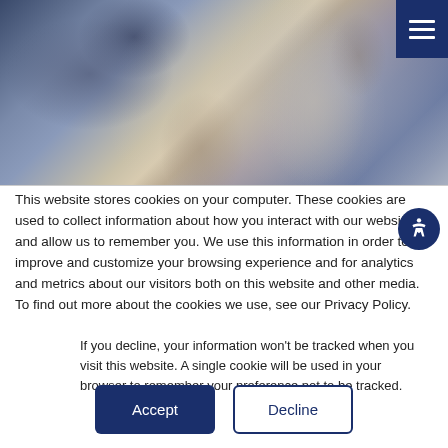[Figure (photo): A woman with blonde hair wearing a gray hoodie and headphones/earbuds, sitting at a computer in what appears to be a classroom or office setting. The background is blurred showing other people and furniture.]
This website stores cookies on your computer. These cookies are used to collect information about how you interact with our website and allow us to remember you. We use this information in order to improve and customize your browsing experience and for analytics and metrics about our visitors both on this website and other media. To find out more about the cookies we use, see our Privacy Policy.
If you decline, your information won't be tracked when you visit this website. A single cookie will be used in your browser to remember your preference not to be tracked.